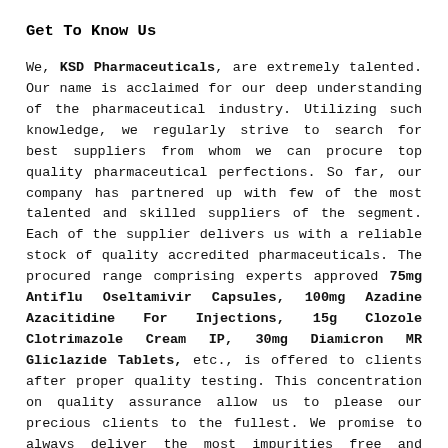Get To Know Us
We, KSD Pharmaceuticals, are extremely talented. Our name is acclaimed for our deep understanding of the pharmaceutical industry. Utilizing such knowledge, we regularly strive to search for best suppliers from whom we can procure top quality pharmaceutical perfections. So far, our company has partnered up with few of the most talented and skilled suppliers of the segment. Each of the supplier delivers us with a reliable stock of quality accredited pharmaceuticals. The procured range comprising experts approved 75mg Antiflu Oseltamivir Capsules, 100mg Azadine Azacitidine For Injections, 15g Clozole Clotrimazole Cream IP, 30mg Diamicron MR Gliclazide Tablets, etc., is offered to clients after proper quality testing. This concentration on quality assurance allow us to please our precious clients to the fullest. We promise to always deliver the most impurities free and effective range to them. With this focus, our enterprise is aiming to become the leading